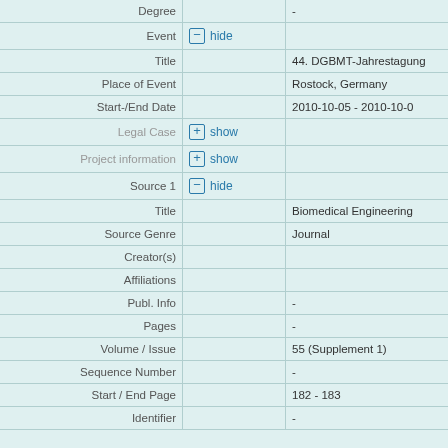| Label | Toggle | Value |
| --- | --- | --- |
| Degree |  | - |
| Event | hide |  |
| Title |  | 44. DGBMT-Jahrestagung |
| Place of Event |  | Rostock, Germany |
| Start-/End Date |  | 2010-10-05 - 2010-10-0… |
| Legal Case | show |  |
| Project information | show |  |
| Source 1 | hide |  |
| Title |  | Biomedical Engineering… |
| Source Genre |  | Journal |
| Creator(s) |  |  |
| Affiliations |  |  |
| Publ. Info |  | - |
| Pages |  | - |
| Volume / Issue |  | 55 (Supplement 1) |
| Sequence Number |  | - |
| Start / End Page |  | 182 - 183 |
| Identifier |  | - |